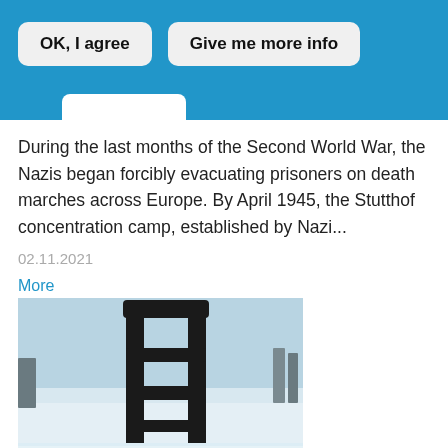OK, I agree | Give me more info
During the last months of the Second World War, the Nazis began forcibly evacuating prisoners on death marches across Europe. By April 1945, the Stutthof concentration camp, established by Nazi...
02.11.2021
More
[Figure (photo): A dark metal ladder-like structure or menorah sculpture standing on snow-covered ground, photographed outdoors in winter.]